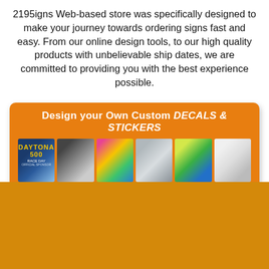2195igns Web-based store was specifically designed to make your journey towards ordering signs fast and easy. From our online design tools, to our high quality products with unbelievable ship dates, we are committed to providing you with the best experience possible.
[Figure (infographic): Orange banner ad for custom decals and stickers. Title reads 'Design your Own Custom DECALS & STICKERS'. Six thumbnail images of stickers/decals including Daytona 500, colorful sticker sheets, car decal, logo stickers. Caption: 'Create your personalized Custom Decals, Stickers and Labels, Design Online NOW! Upload your Logo, add text and pictures, it's easy and fun, ships next day!']
[Figure (other): Solid golden-orange background fill in the bottom portion of the page.]